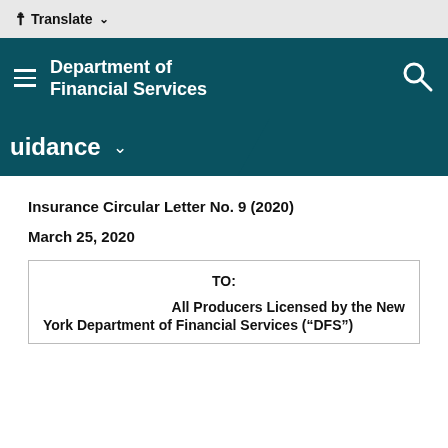Translate
[Figure (screenshot): Department of Financial Services navigation header bar with hamburger menu, DFS logo text, and search icon on dark teal background]
[Figure (screenshot): Navigation sub-bar with 'uidance' text (partially visible) and dropdown chevron on dark teal background]
Insurance Circular Letter No. 9 (2020)
March 25, 2020
| TO: |  |
|  | All Producers Licensed by the New York Department of Financial Services (“DFS”) |